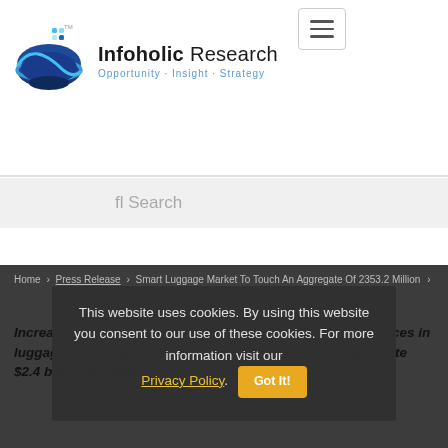[Figure (logo): Infoholic Research logo — blue globe with orbital rings and pixel-dot accent, company name and tagline]
Infoholic Research · Opportunity · Insight · Strategy
fl Search
Home > Press Release > Smart Luggage Market To Touch An Aggregate Of 2353.2 Million
This website uses cookies. By using this website you consent to our use of these cookies. For more information visit our Privacy Policy. Got It!
Increasing usage of sensors RFID tags, and Bluetooth devices in luggage is driving the Smart Luggage Market to an aggregate $2.4 billion by 2022